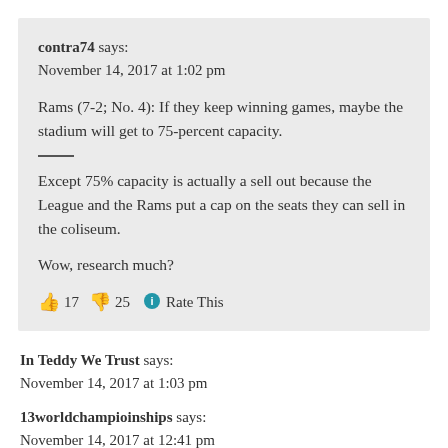contra74 says:
November 14, 2017 at 1:02 pm
Rams (7-2; No. 4): If they keep winning games, maybe the stadium will get to 75-percent capacity.
Except 75% capacity is actually a sell out because the League and the Rams put a cap on the seats they can sell in the coliseum.
Wow, research much?
👍 17 👎 25 🔵 Rate This
In Teddy We Trust says:
November 14, 2017 at 1:03 pm
13worldchampioinships says:
November 14, 2017 at 12:41 pm